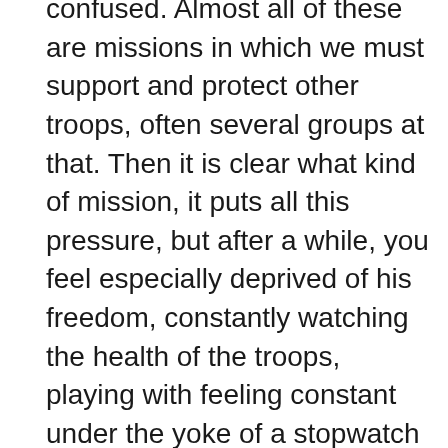confused. Almost all of these are missions in which we must support and protect other troops, often several groups at that. Then it is clear what kind of mission, it puts all this pressure, but after a while, you feel especially deprived of his freedom, constantly watching the health of the troops, playing with feeling constant under the yoke of a stopwatch invisible. The rate of sulfur and ultra confusing interface does not help to know where our help is most expected. Go here, do it, watch it, dark there, but not there, not here and